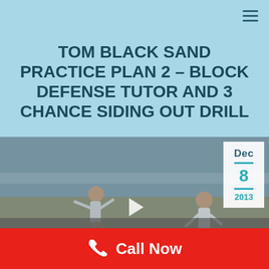TOM BLACK SAND PRACTICE PLAN 2 – BLOCK DEFENSE TUTOR AND 3 CHANCE SIDING OUT DRILL
[Figure (screenshot): Video thumbnail of beach volleyball players on sand court with a play button overlay. A date badge shows Dec 8 2013 in the top right corner.]
We use cookies to ensure that we give you the best experience on our website. If you continue to use this site we will assume that you are happy with it.
Call Now